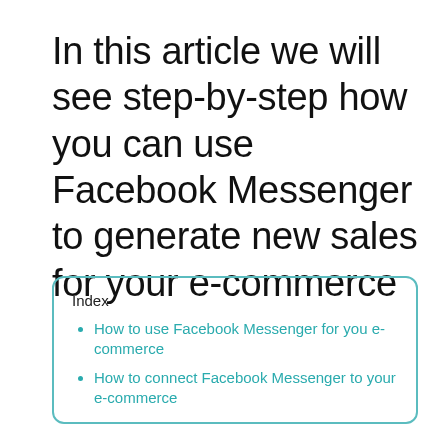In this article we will see step-by-step how you can use Facebook Messenger to generate new sales for your e-commerce
Index
How to use Facebook Messenger for you e-commerce
How to connect Facebook Messenger to your e-commerce